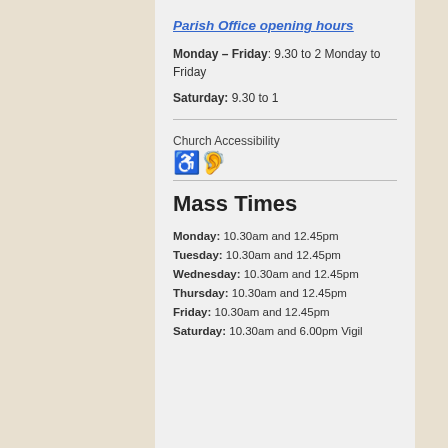Parish Office opening hours
Monday – Friday: 9.30 to 2 Monday to Friday
Saturday: 9.30 to 1
Church Accessibility ♿🦻
Mass Times
Monday: 10.30am and 12.45pm
Tuesday: 10.30am and 12.45pm
Wednesday: 10.30am and 12.45pm
Thursday: 10.30am and 12.45pm
Friday: 10.30am and 12.45pm
Saturday: 10.30am and 6.00pm Vigil